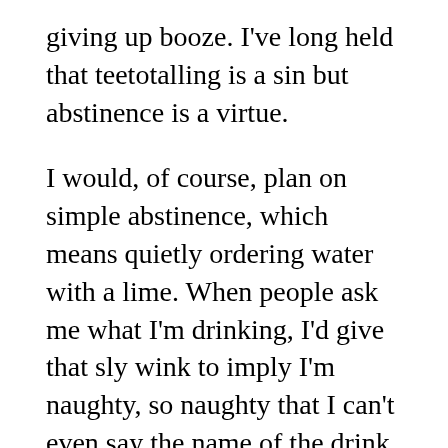giving up booze. I've long held that teetotalling is a sin but abstinence is a virtue.
I would, of course, plan on simple abstinence, which means quietly ordering water with a lime. When people ask me what I'm drinking, I'd give that sly wink to imply I'm naughty, so naughty that I can't even say the name of the drink for fear the devil himself would appear.
Or maybe I'll just say that I'm drinking 99% grain alcohol straight from the still ("I had some left after using it to clean my shoes").